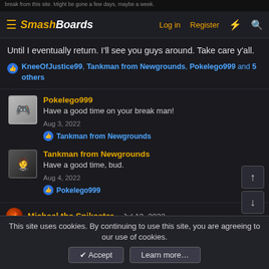SmashBoards — Log in | Register
Until I eventually return. I'll see you guys around. Take care y'all.
KneeOfJustice99, Tankman from Newgrounds, Pokelego999 and 5 others
Pokelego999
Have a good time on your break man!
Aug 3, 2022
Tankman from Newgrounds
Tankman from Newgrounds
Have a good time, bud.
Aug 4, 2022
Pokelego999
Michael the Spikester · Jul 13, 2022
This site uses cookies. By continuing to use this site, you are agreeing to our use of cookies.